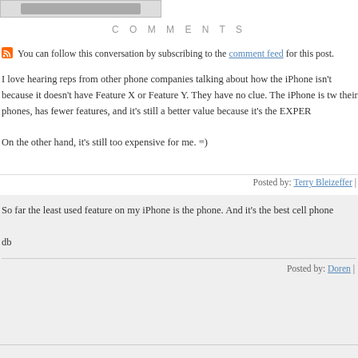[logo/header image]
COMMENTS
You can follow this conversation by subscribing to the comment feed for this post.
I love hearing reps from other phone companies talking about how the iPhone isn't because it doesn't have Feature X or Feature Y. They have no clue. The iPhone is tw their phones, has fewer features, and it's still a better value because it's the EXPER

On the other hand, it's still too expensive for me. =)
Posted by: Terry Bleizeffer |
So far the least used feature on my iPhone is the phone. And it's the best cell phone

db
Posted by: Doren |